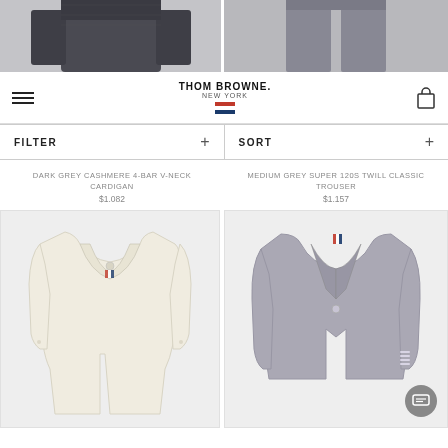[Figure (photo): Two product images at top: dark grey cardigan on left, grey trousers on right, partially cropped]
[Figure (screenshot): Thom Browne New York website navigation bar with hamburger menu, brand logo, and shopping bag icon]
FILTER +
SORT +
DARK GREY CASHMERE 4-BAR V-NECK CARDIGAN
$1.082
MEDIUM GREY SUPER 120S TWILL CLASSIC TROUSER
$1.157
[Figure (photo): Cream/off-white long coat illustration on light grey background]
[Figure (photo): Medium grey blazer/jacket illustration on light grey background with chat button overlay]